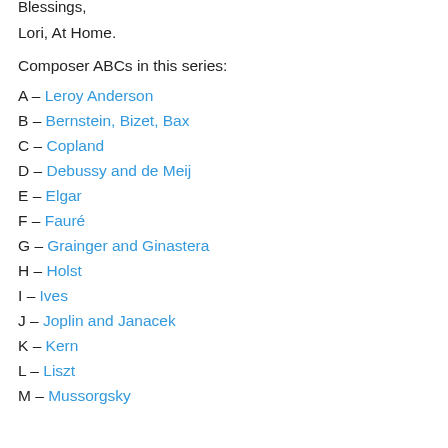Blessings,
Lori, At Home.
Composer ABCs in this series:
A – Leroy Anderson
B – Bernstein, Bizet, Bax
C – Copland
D – Debussy and de Meij
E – Elgar
F – Fauré
G – Grainger and Ginastera
H – Holst
I – Ives
J – Joplin and Janacek
K – Kern
L – Liszt
M – Mussorgsky